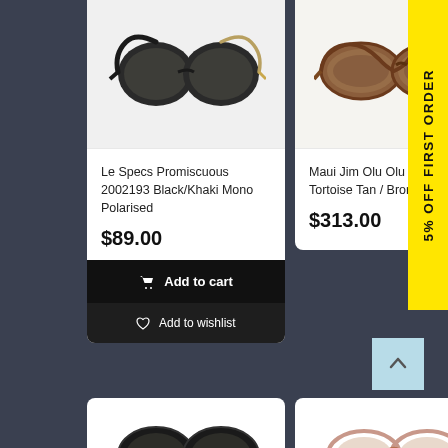[Figure (photo): Black cat-eye sunglasses with gold temples - Le Specs Promiscuous]
Le Specs Promiscuous 2002193 Black/Khaki Mono Polarised
$89.00
Add to cart
Add to wishlist
[Figure (photo): Tortoise/tan cat-eye sunglasses - Maui Jim Olu Olu HS537 10A]
Maui Jim Olu Olu HS537 10A Tortoise Tan / Bronze
$313.00
5% OFF FIRST ORDER
[Figure (photo): Partial view of dark sunglasses at bottom left]
[Figure (photo): Partial view of sunglasses with pink/rose frames at bottom right]